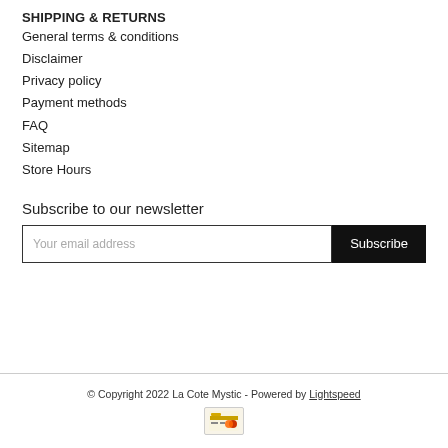SHIPPING & RETURNS
General terms & conditions
Disclaimer
Privacy policy
Payment methods
FAQ
Sitemap
Store Hours
Subscribe to our newsletter
Your email address
Subscribe
© Copyright 2022 La Cote Mystic - Powered by Lightspeed
[Figure (other): Payment method icon - credit card badge]